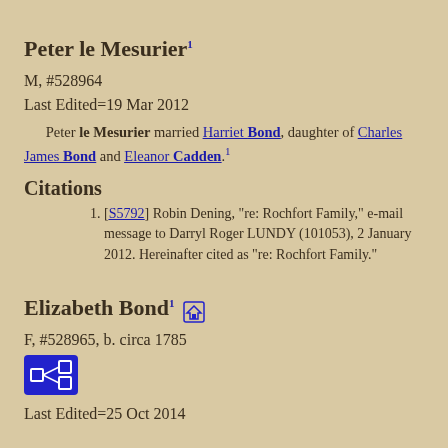Peter le Mesurier¹
M, #528964
Last Edited=19 Mar 2012
Peter le Mesurier married Harriet Bond, daughter of Charles James Bond and Eleanor Cadden.¹
Citations
[S5792] Robin Dening, "re: Rochfort Family," e-mail message to Darryl Roger LUNDY (101053), 2 January 2012. Hereinafter cited as "re: Rochfort Family."
Elizabeth Bond¹
F, #528965, b. circa 1785
Last Edited=25 Oct 2014